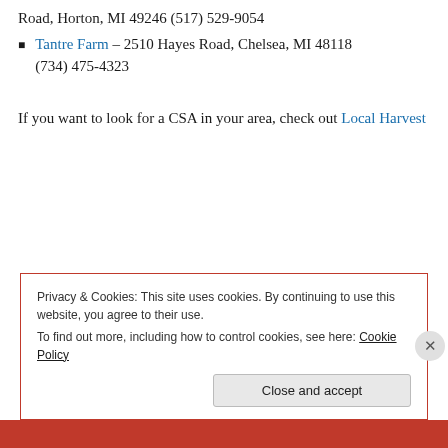Road, Horton, MI 49246 (517) 529-9054
Tantre Farm – 2510 Hayes Road, Chelsea, MI 48118 (734) 475-4323
If you want to look for a CSA in your area, check out Local Harvest
Privacy & Cookies: This site uses cookies. By continuing to use this website, you agree to their use.
To find out more, including how to control cookies, see here: Cookie Policy
Close and accept